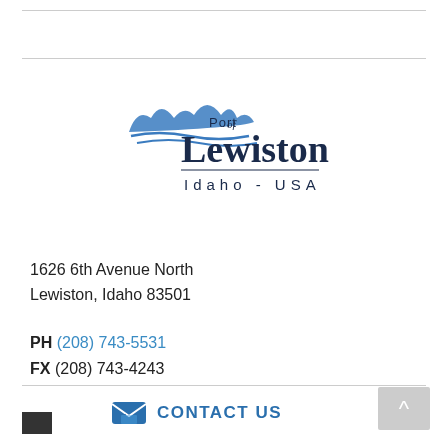[Figure (logo): Port of Lewiston, Idaho - USA logo with mountain/wave icon]
1626 6th Avenue North
Lewiston, Idaho 83501
PH (208) 743-5531
FX (208) 743-4243
CONTACT US